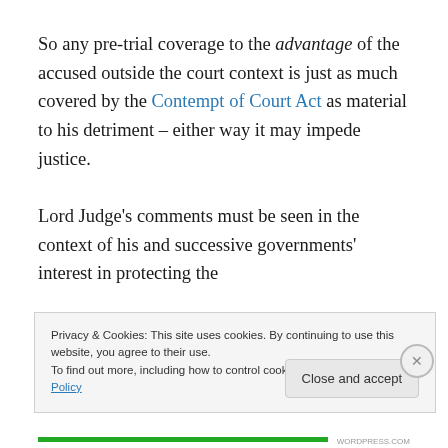So any pre-trial coverage to the advantage of the accused outside the court context is just as much covered by the Contempt of Court Act as material to his detriment – either way it may impede justice.

Lord Judge's comments must be seen in the context of his and successive governments' interest in protecting the
Privacy & Cookies: This site uses cookies. By continuing to use this website, you agree to their use. To find out more, including how to control cookies, see here: Cookie Policy